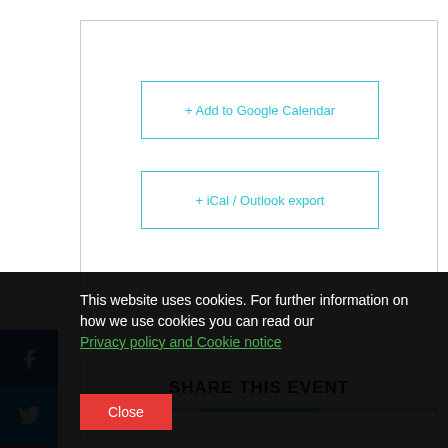+ Add to Google Calendar
+ iCal / Outlook export
SHARE THIS EVENT
This website uses cookies. For further information on how we use cookies you can read our Privacy policy and Cookie notice
Close